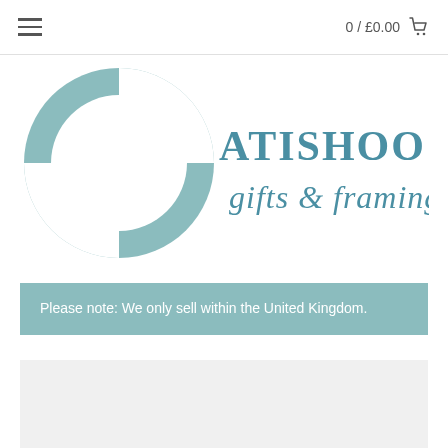0 / £0.00
[Figure (logo): Atishoo Gallery gifts & framing logo with a teal life preserver ring and teal text]
Please note: We only sell within the United Kingdom.
[Figure (photo): Partial product image with light grey background, content not fully visible]